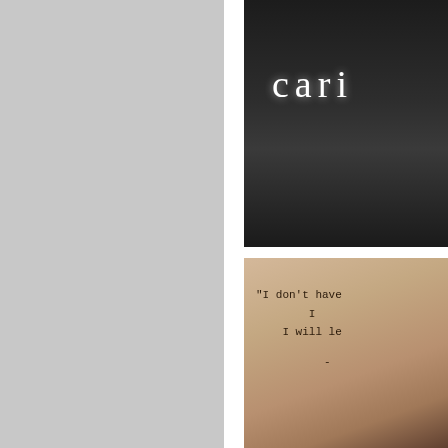[Figure (photo): Gray background panel occupying the left half of the page]
[Figure (photo): Photograph of a storefront window at night showing partial text 'cari' in white serif letters against dark background]
[Figure (photo): Photograph of a warm-lit wall displaying a quote in typewriter font: "I don't have  I  I will le" followed by a dash attribution, with a figure partially visible at the bottom right]